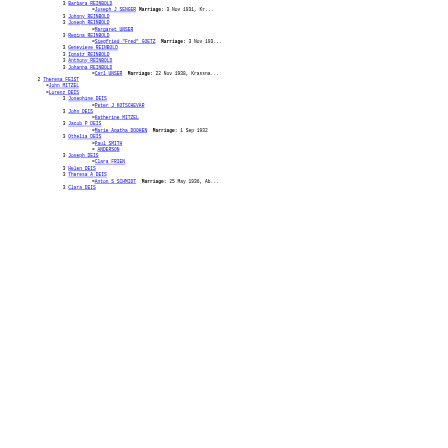3 Barbara REINBOLD =Joseph J SENGER Marriage: 3 Nov 1931, Kr...
3 Johnny REINBOLD
3 Joseph REINBOLD =Margaret UNSER
3 Regina REINBOLD =Siegfried "Fred" GOETZ Marriage: 3 Nov 193...
3 Genevieve REINBOLD
3 Ignatz REINBOLD
3 Anthony REINBOLD
3 Johanna REINBOLD =Carl UNSER Marriage: 22 Nov 1938, Krassna...
2 Theresa FEIST =John MITZEL =Lorenz DEIS
3 Josephine DEIS =Peter J KOTSCHEVAR
3 John DEIS =Katherine MITZEL
3 Jacob P DEIS =Marie Agatha DOOHEN Marriage: 1 Sep 1932
3 Othelia DEIS =Paul SMITH = ANDERSON
3 Joseph DEIS =Clara FRIEN
3 Helen DEIS
3 Theresa A DEIS =Anton S SCHMIDT Marriage: 25 May 1936, Ab...
3 Clara DEIS